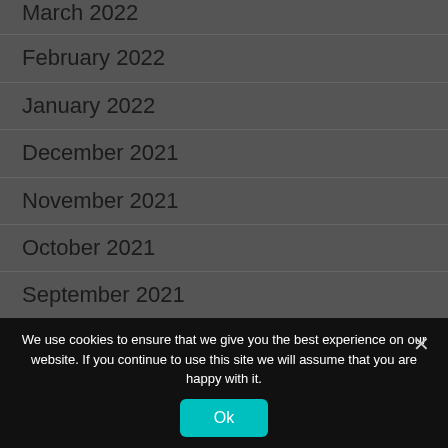March 2022
February 2022
January 2022
December 2021
November 2021
October 2021
September 2021
August 2021
July 2021
June 2021
We use cookies to ensure that we give you the best experience on our website. If you continue to use this site we will assume that you are happy with it.